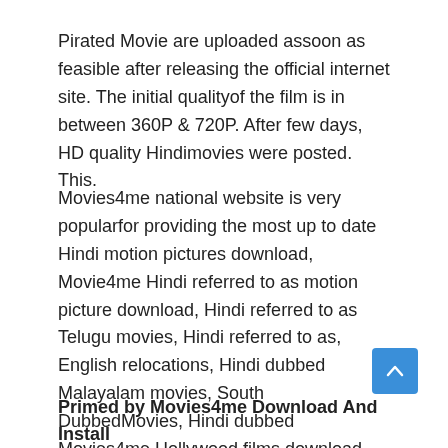Pirated Movie are uploaded assoon as feasible after releasing the official internet site. The initial qualityof the film is in between 360P & 720P. After few days, HD quality Hindimovies were posted. This.
Movies4me national website is very popularfor providing the most up to date Hindi motion pictures download, Movie4me Hindi referred to as motion picture download, Hindi referred to as Telugu movies, Hindi referred to as, English relocations, Hindi dubbed Malayalam movies, South DubbedMovies, Hindi dubbed Movies4me Hollywood films download, Movie4me Bollywood Films download and install on the exact same morning of therelease of the films.
Primed by Movies4me Download And Install